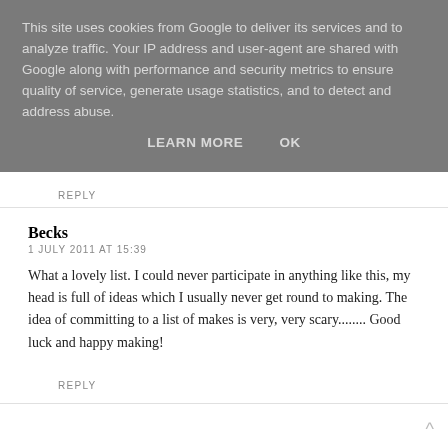This site uses cookies from Google to deliver its services and to analyze traffic. Your IP address and user-agent are shared with Google along with performance and security metrics to ensure quality of service, generate usage statistics, and to detect and address abuse.
LEARN MORE   OK
REPLY
Becks
1 JULY 2011 AT 15:39
What a lovely list. I could never participate in anything like this, my head is full of ideas which I usually never get round to making. The idea of committing to a list of makes is very, very scary........ Good luck and happy making!
REPLY